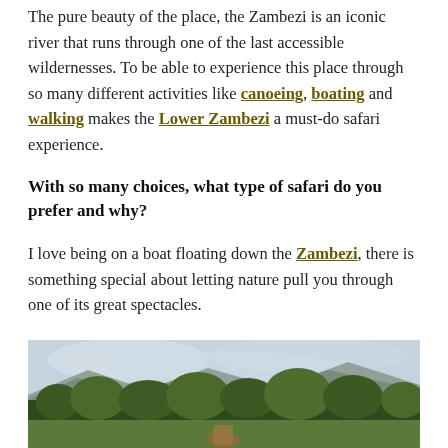The pure beauty of the place, the Zambezi is an iconic river that runs through one of the last accessible wildernesses. To be able to experience this place through so many different activities like canoeing, boating and walking makes the Lower Zambezi a must-do safari experience.
With so many choices, what type of safari do you prefer and why?
I love being on a boat floating down the Zambezi, there is something special about letting nature pull you through one of its great spectacles.
[Figure (photo): Outdoor nature photo showing trees and mountains under a cloudy sky, with a figure partially visible at the bottom, suggesting a safari or wilderness scene near the Zambezi.]